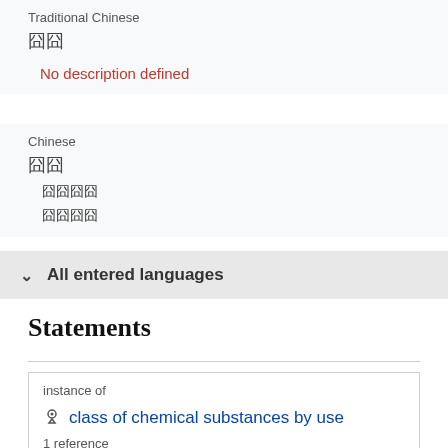Traditional Chinese
囧囧
No description defined
Chinese
囧囧
囧囧囧囧
囧囧囧囧
All entered languages
Statements
instance of
class of chemical substances by use
1 reference